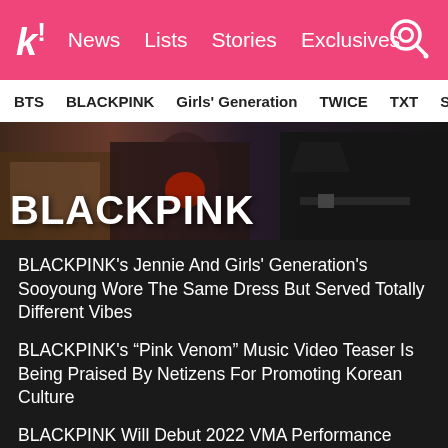k! News Lists Stories Exclusives
BTS | BLACKPINK | Girls' Generation | TWICE | TXT | SEVE
[Figure (photo): BLACKPINK hero banner image showing members in dark clothing with BLACKPINK title text overlay]
BLACKPINK's Jennie And Girls' Generation's Sooyoung Wore The Same Dress But Served Totally Different Vibes
BLACKPINK's “Pink Venom” Music Video Teaser Is Being Praised By Netizens For Promoting Korean Culture
BLACKPINK Will Debut 2022 VMA Performance With Comeback Single “Pink Venom”
BLACKPINK Drops Official “Pink Venom” Music Video Teaser
See more BLACKPINK